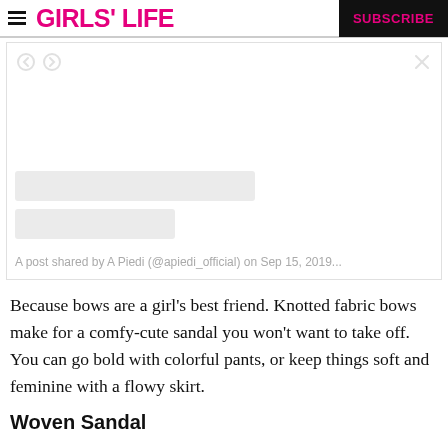GIRLS' LIFE | SUBSCRIBE
[Figure (screenshot): Embedded Instagram post from A Piedi (@apiedi_official) showing placeholder content blocks and caption: A post shared by A Piedi (@apiedi_official) on Sep 15, 2019...]
Because bows are a girl's best friend. Knotted fabric bows make for a comfy-cute sandal you won't want to take off. You can go bold with colorful pants, or keep things soft and feminine with a flowy skirt.
Woven Sandal